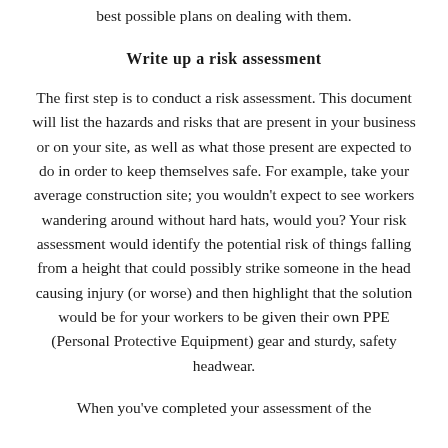best possible plans on dealing with them.
Write up a risk assessment
The first step is to conduct a risk assessment. This document will list the hazards and risks that are present in your business or on your site, as well as what those present are expected to do in order to keep themselves safe. For example, take your average construction site; you wouldn’t expect to see workers wandering around without hard hats, would you? Your risk assessment would identify the potential risk of things falling from a height that could possibly strike someone in the head causing injury (or worse) and then highlight that the solution would be for your workers to be given their own PPE (Personal Protective Equipment) gear and sturdy, safety headwear.
When you’ve completed your assessment of the